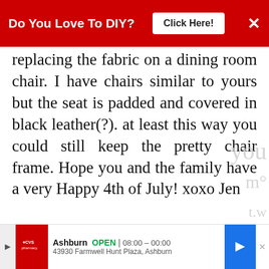[Figure (screenshot): Red banner ad: 'Do You Love To DIY?' with 'Click Here!' button and X close button]
replacing the fabric on a dining room chair. I have chairs similar to yours but the seat is padded and covered in black leather(?). at least this way you could still keep the pretty chair frame. Hope you and the family have a very Happy 4th of July! xoxo Jen
REPLY DELETE
▾ REPLIES
Kim
JULY 10, 2016 AT 7:02 PM
[Figure (screenshot): WHAT'S NEXT arrow, How To Repair Damaged... with wood texture thumbnail]
[Figure (screenshot): CVS Pharmacy ad: Ashburn OPEN 08:00-00:00, 43930 Farmwell Hunt Plaza, Ashburn]